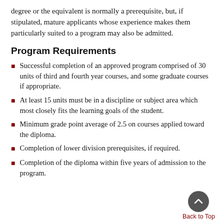degree or the equivalent is normally a prerequisite, but, if stipulated, mature applicants whose experience makes them particularly suited to a program may also be admitted.
Program Requirements
Successful completion of an approved program comprised of 30 units of third and fourth year courses, and some graduate courses if appropriate.
At least 15 units must be in a discipline or subject area which most closely fits the learning goals of the student.
Minimum grade point average of 2.5 on courses applied toward the diploma.
Completion of lower division prerequisites, if required.
Completion of the diploma within five years of admission to the program.